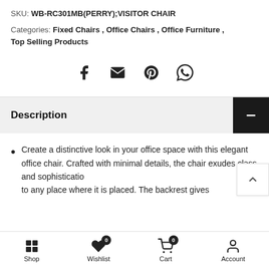SKU: WB-RC301MB(PERRY);VISITOR CHAIR
Categories: Fixed Chairs, Office Chairs, Office Furniture, Top Selling Products
[Figure (infographic): Social sharing icons: Facebook, Email, Pinterest, WhatsApp]
Description
Create a distinctive look in your office space with this elegant office chair. Crafted with minimal details, the chair exudes class and sophistication to any place where it is placed. The backrest gives
Shop  Wishlist 0  Cart 0  Account